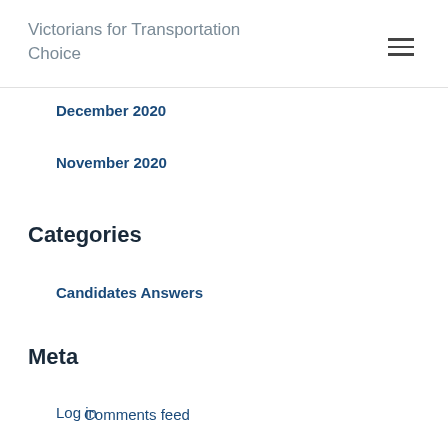Victorians for Transportation Choice
December 2020
November 2020
Categories
Candidates Answers
Meta
Log in
Entries feed
Comments feed